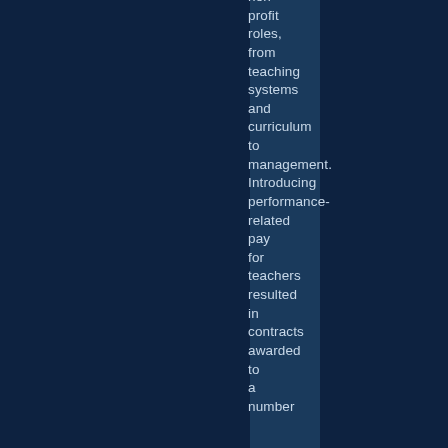non-profit roles, from teaching systems and curriculum to management. Introducing performance-related pay for teachers resulted in contracts awarded to a number